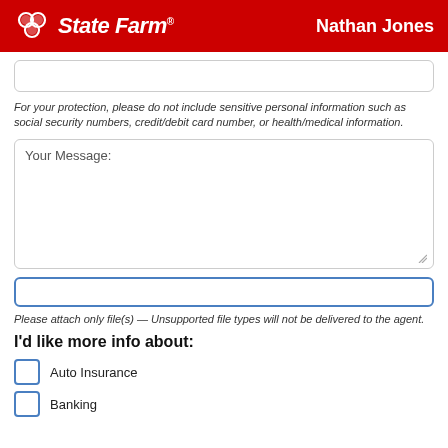State Farm — Nathan Jones
For your protection, please do not include sensitive personal information such as social security numbers, credit/debit card number, or health/medical information.
Your Message:
Please attach only file(s) — Unsupported file types will not be delivered to the agent.
I'd like more info about:
Auto Insurance
Banking